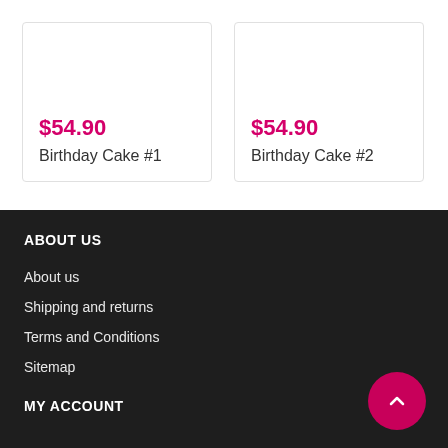$54.90
Birthday Cake #1
$54.90
Birthday Cake #2
ABOUT US
About us
Shipping and returns
Terms and Conditions
Sitemap
MY ACCOUNT